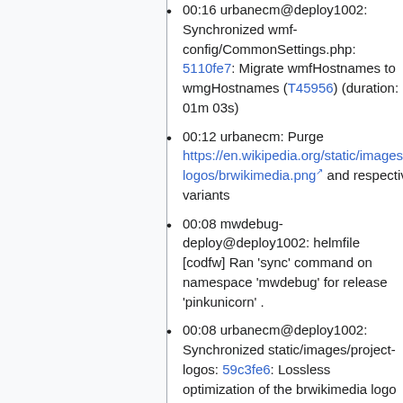00:16 urbanecm@deploy1002: Synchronized wmf-config/CommonSettings.php: 5110fe7: Migrate wmfHostnames to wmgHostnames (T45956) (duration: 01m 03s)
00:12 urbanecm: Purge https://en.wikipedia.org/static/images/project-logos/brwikimedia.png and respective HD variants
00:08 mwdebug-deploy@deploy1002: helmfile [codfw] Ran 'sync' command on namespace 'mwdebug' for release 'pinkunicorn' .
00:08 urbanecm@deploy1002: Synchronized static/images/project-logos: 59c3fe6: Lossless optimization of the brwikimedia logo (duration: 01m 04s)
00:04 mwdebug-